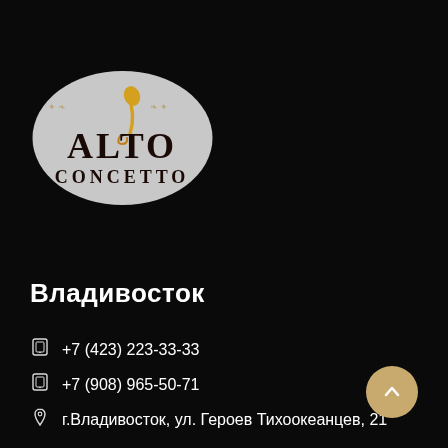[Figure (logo): Alto Concetto oval logo on light grey background with stylized golden musical note and decorative elements, brand name in dark serif letters]
Владивосток
+7 (423) 223-33-33
+7 (908) 965-50-71
г.Владивосток, ул. Героев Тихоокеанцев, 21